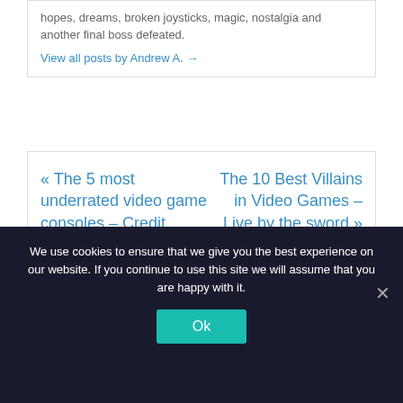hopes, dreams, broken joysticks, magic, nostalgia and another final boss defeated.
View all posts by Andrew A. →
« The 5 most underrated video game consoles – Credit where is due
The 10 Best Villains in Video Games – Live by the sword »
We use cookies to ensure that we give you the best experience on our website. If you continue to use this site we will assume that you are happy with it.